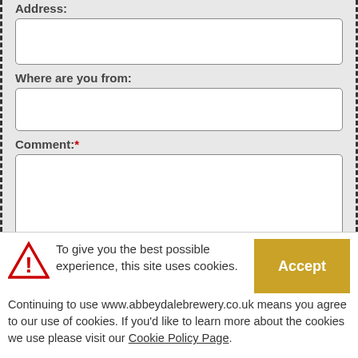Address:
Where are you from:
Comment: *
Human Check: *
To give you the best possible experience, this site uses cookies. Continuing to use www.abbeydalebrewery.co.uk means you agree to our use of cookies. If you'd like to learn more about the cookies we use please visit our Cookie Policy Page.